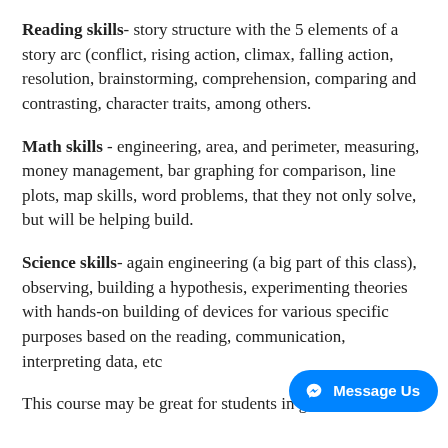Reading skills- story structure with the 5 elements of a story arc (conflict, rising action, climax, falling action, resolution, brainstorming, comprehension, comparing and contrasting, character traits, among others.
Math skills - engineering, area, and perimeter, measuring, money management, bar graphing for comparison, line plots, map skills, word problems, that they not only solve, but will be helping build.
Science skills- again engineering (a big part of this class), observing, building a hypothesis, experimenting theories with hands-on building of devices for various specific purposes based on the reading, communication, interpreting data, etc
This course may be great for students in grades 3rd